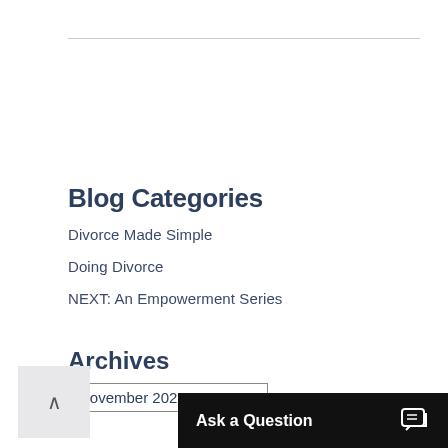Blog Categories
Divorce Made Simple
Doing Divorce
NEXT: An Empowerment Series
Archives
November 2020
Ask a Question